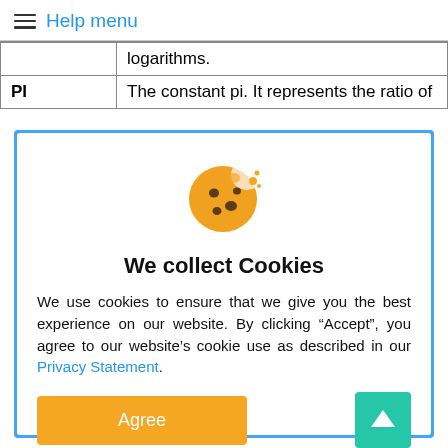Help menu
|  |  |
| --- | --- |
|  | logarithms. |
| PI | The constant pi. It represents the ratio of |
[Figure (illustration): Cookie emoji illustration — a brown cookie with chocolate chip spots and a bite taken out, with crumbs]
We collect Cookies
We use cookies to ensure that we give you the best experience on our website. By clicking “Accept”, you agree to our website’s cookie use as described in our Privacy Statement.
Agree